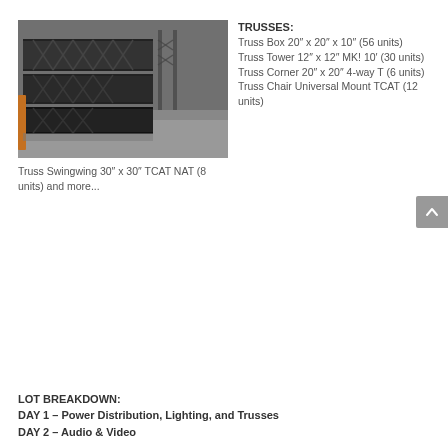[Figure (photo): Photo of black steel truss structures stacked in a warehouse/industrial setting]
TRUSSES:
Truss Box 20″ x 20″ x 10″ (56 units)
Truss Tower 12″ x 12″ MK! 10′ (30 units)
Truss Corner 20″ x 20″ 4-way T (6 units)
Truss Chair Universal Mount TCAT (12 units)
Truss Swingwing 30″ x 30″ TCAT NAT (8 units) and more...
LOT BREAKDOWN:
DAY 1 – Power Distribution, Lighting, and Trusses
DAY 2 – Audio & Video